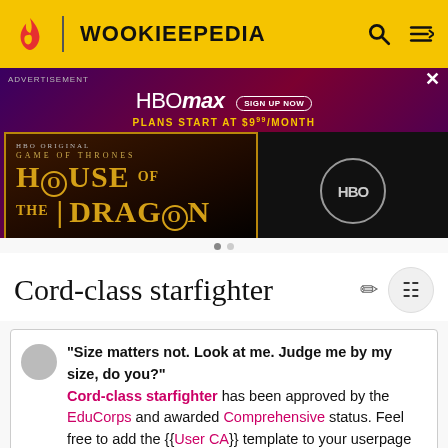WOOKIEEPEDIA
[Figure (screenshot): HBO Max advertisement banner featuring House of the Dragon / Game of Thrones promotional image on left and HBO logo on dark background on right]
Cord-class starfighter
"Size matters not. Look at me. Judge me by my size, do you?" Cord-class starfighter has been approved by the EduCorps and awarded Comprehensive status. Feel free to add the {{User CA}} template to your userpage to acknowledge your hard work. The EduCorps thanks you for your efforts and looks